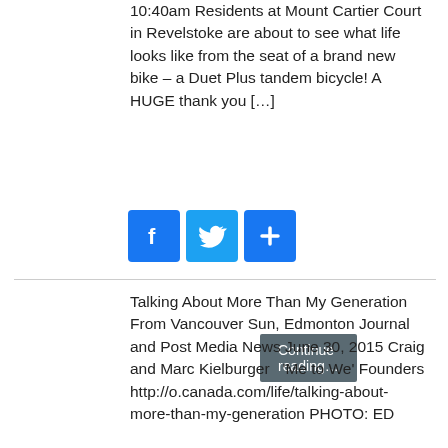10:40am Residents at Mount Cartier Court in Revelstoke are about to see what life looks like from the seat of a brand new bike – a Duet Plus tandem bicycle! A HUGE thank you […]
Continue reading…
[Figure (other): Social sharing buttons: Facebook, Twitter, and a plus/share button]
Talking About More Than My Generation From Vancouver Sun, Edmonton Journal and Post Media News June 30, 2015 Craig and Marc Kielburger  'Me to We' Founders http://o.canada.com/life/talking-about-more-than-my-generation PHOTO: ED